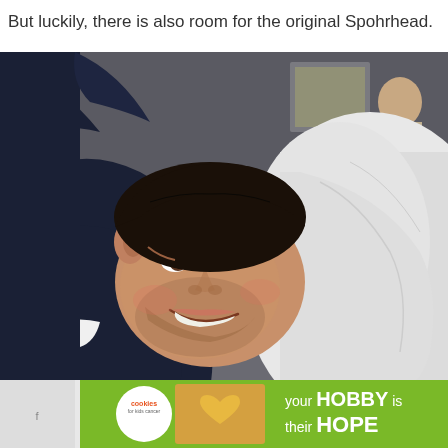But luckily, there is also room for the original Spohrhead.
[Figure (photo): A smiling man with short dark hair wearing a dark navy hoodie, leaning his head against what appears to be a pregnant belly covered in white fabric. In the background, another person is visible in a dimly lit room.]
[Figure (photo): Advertisement banner: 'Cookies for Kids Cancer' logo with a heart-shaped cookie, text reading 'your HOBBY is their HOPE' on a green background, with close and dismiss buttons.]